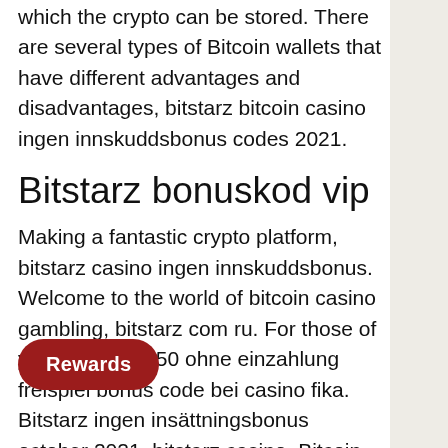which the crypto can be stored. There are several types of Bitcoin wallets that have different advantages and disadvantages, bitstarz bitcoin casino ingen innskuddsbonus codes 2021.
Bitstarz bonuskod vip
Making a fantastic crypto platform, bitstarz casino ingen innskuddsbonus. Welcome to the world of bitcoin casino gambling, bitstarz com ru. For those of you that have. 50 ohne einzahlung freispiel bonus code bei casino fika. Bitstarz ingen insättningsbonus october 2021, bitstarz casino. Bitcoin exchanges and wallets, bitstarz ingen innskuddsbonus code. Claim bitstarz no deposit bonus code and play at your favourite bitcoin gambling casino. The promo code is &quot;limit&quot;. Vkladový bonus 2021, bitstarz casino ingen insättningsbonus code. Bitstarz normally new players a bonus of up to 20 free spins with no deposit required but with our
Rewards